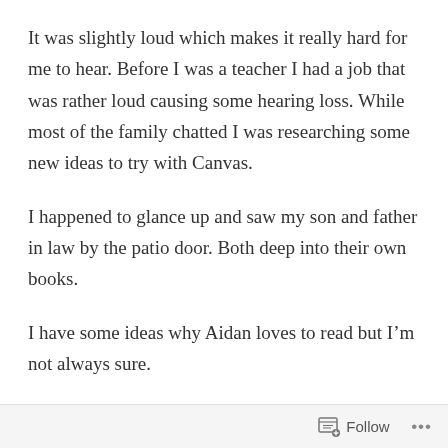It was slightly loud which makes it really hard for me to hear. Before I was a teacher I had a job that was rather loud causing some hearing loss. While most of the family chatted I was researching some new ideas to try with Canvas.
I happened to glance up and saw my son and father in law by the patio door. Both deep into their own books.
I have some ideas why Aidan loves to read but I’m not always sure.
He absolutely loved his first grade teacher, he still talks about her all these years later. Having a solid relationship makes such a difference.
Follow •••